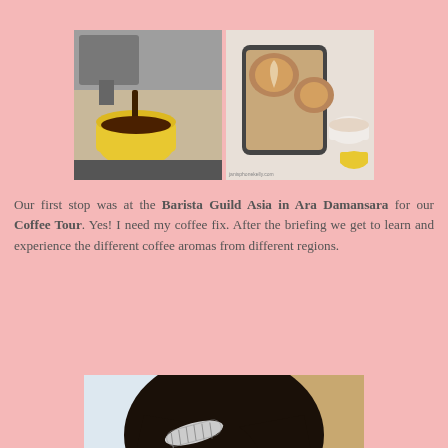[Figure (photo): Two photos side by side: left shows espresso being poured into a yellow cup, right shows a phone screen displaying latte art alongside actual latte art cups. Watermark: janisphonekelly.com]
Our first stop was at the Barista Guild Asia in Ara Damansara for our Coffee Tour. Yes! I need my coffee fix. After the briefing we get to learn and experience the different coffee aromas from different regions.
[Figure (photo): A woman with dark hair wearing a decorative wing-shaped hairpin/headband, looking down, wearing a red top. Background is blurred.]